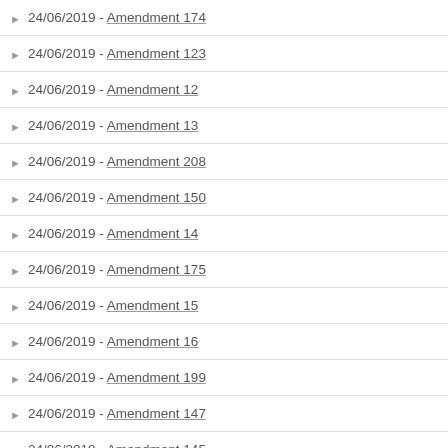24/06/2019 - Amendment 174
24/06/2019 - Amendment 123
24/06/2019 - Amendment 12
24/06/2019 - Amendment 13
24/06/2019 - Amendment 208
24/06/2019 - Amendment 150
24/06/2019 - Amendment 14
24/06/2019 - Amendment 175
24/06/2019 - Amendment 15
24/06/2019 - Amendment 16
24/06/2019 - Amendment 199
24/06/2019 - Amendment 147
24/06/2019 - Amendment 145